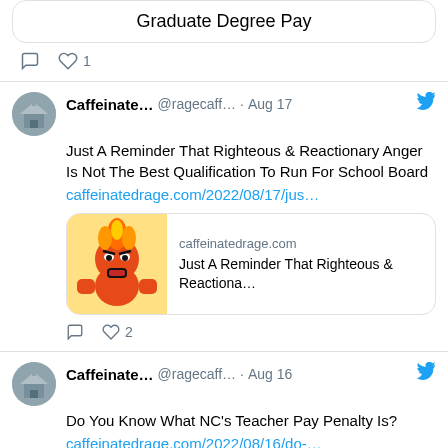Graduate Degree Pay
1 like
Caffeinate... @ragecaff... · Aug 17 — Just A Reminder That Righteous & Reactionary Anger Is Not The Best Qualification To Run For School Board
caffeinatedrage.com/2022/08/17/jus...
[Figure (screenshot): Preview card with anger character image and text: caffeinatedrage.com / Just A Reminder That Righteous & Reactiona...]
2 likes
Caffeinate... @ragecaff... · Aug 16 — Do You Know What NC's Teacher Pay Penalty Is?
caffeinatedrage.com/2022/08/16/do-...